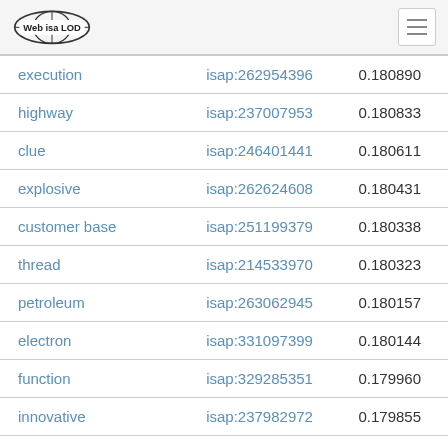Web isa LOD
| execution | isap:262954396 | 0.180890 |
| highway | isap:237007953 | 0.180833 |
| clue | isap:246401441 | 0.180611 |
| explosive | isap:262624608 | 0.180431 |
| customer base | isap:251199379 | 0.180338 |
| thread | isap:214533970 | 0.180323 |
| petroleum | isap:263062945 | 0.180157 |
| electron | isap:331097399 | 0.180144 |
| function | isap:329285351 | 0.179960 |
| innovative | isap:237982972 | 0.179855 |
| real thing | isap:468848159 | 0.179637 |